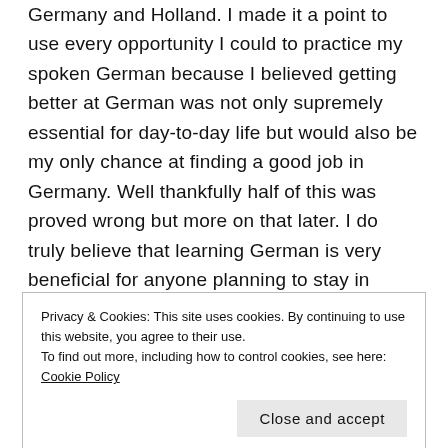Germany and Holland. I made it a point to use every opportunity I could to practice my spoken German because I believed getting better at German was not only supremely essential for day-to-day life but would also be my only chance at finding a good job in Germany. Well thankfully half of this was proved wrong but more on that later. I do truly believe that learning German is very beneficial for anyone planning to stay in Germany even if it's just for 2-3 years. In fact, even though I don't need a word of German at my workplace (not even for socializing), I still find it immensely helpful to attend a language course
Privacy & Cookies: This site uses cookies. By continuing to use this website, you agree to their use.
To find out more, including how to control cookies, see here: Cookie Policy
here but now I am very much used to the fact that